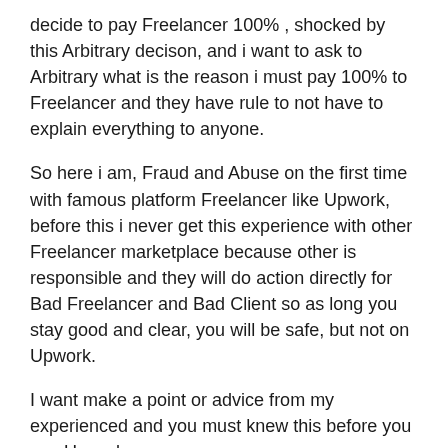decide to pay Freelancer 100% , shocked by this Arbitrary decison, and i want to ask to Arbitrary what is the reason i must pay 100% to Freelancer and they have rule to not have to explain everything to anyone.
So here i am, Fraud and Abuse on the first time with famous platform Freelancer like Upwork, before this i never get this experience with other Freelancer marketplace because other is responsible and they will do action directly for Bad Freelancer and Bad Client so as long you stay good and clear, you will be safe, but not on Upwork.
I want make a point or advice from my experienced and you must knew this before you use Upwork: